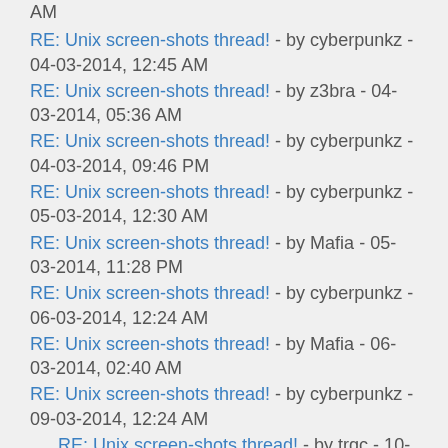AM
RE: Unix screen-shots thread! - by cyberpunkz - 04-03-2014, 12:45 AM
RE: Unix screen-shots thread! - by z3bra - 04-03-2014, 05:36 AM
RE: Unix screen-shots thread! - by cyberpunkz - 04-03-2014, 09:46 PM
RE: Unix screen-shots thread! - by cyberpunkz - 05-03-2014, 12:30 AM
RE: Unix screen-shots thread! - by Mafia - 05-03-2014, 11:28 PM
RE: Unix screen-shots thread! - by cyberpunkz - 06-03-2014, 12:24 AM
RE: Unix screen-shots thread! - by Mafia - 06-03-2014, 02:40 AM
RE: Unix screen-shots thread! - by cyberpunkz - 09-03-2014, 12:24 AM
RE: Unix screen-shots thread! - by trgc - 10-03-2014, 10:13 PM
RE: Unix screen-shots thread! - by berk - 09-03-2014, 07:27 AM